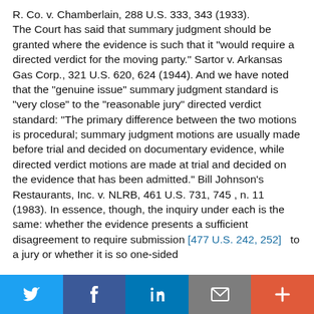R. Co. v. Chamberlain, 288 U.S. 333, 343 (1933). The Court has said that summary judgment should be granted where the evidence is such that it "would require a directed verdict for the moving party." Sartor v. Arkansas Gas Corp., 321 U.S. 620, 624 (1944). And we have noted that the "genuine issue" summary judgment standard is "very close" to the "reasonable jury" directed verdict standard: "The primary difference between the two motions is procedural; summary judgment motions are usually made before trial and decided on documentary evidence, while directed verdict motions are made at trial and decided on the evidence that has been admitted." Bill Johnson's Restaurants, Inc. v. NLRB, 461 U.S. 731, 745 , n. 11 (1983). In essence, though, the inquiry under each is the same: whether the evidence presents a sufficient disagreement to require submission [477 U.S. 242, 252]   to a jury or whether it is so one-sided
Twitter | Facebook | LinkedIn | Email | +